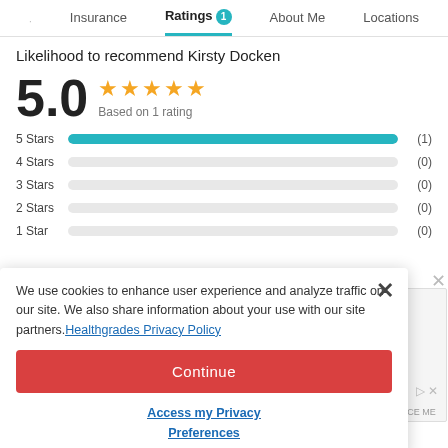Insurance | Ratings 1 | About Me | Locations
Likelihood to recommend Kirsty Docken
5.0 ★★★★★ Based on 1 rating
[Figure (bar-chart): Star rating distribution]
We use cookies to enhance user experience and analyze traffic on our site. We also share information about your use with our site partners. Healthgrades Privacy Policy
Continue
Access my Privacy Preferences